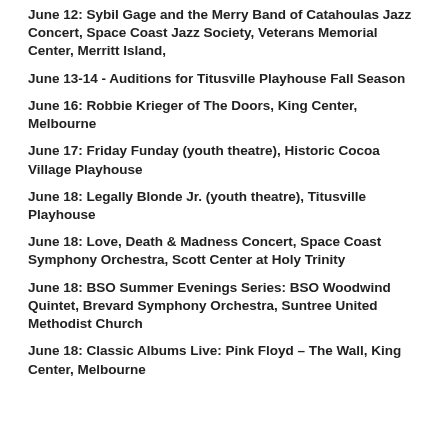June 12: Sybil Gage and the Merry Band of Catahoulas Jazz Concert, Space Coast Jazz Society, Veterans Memorial Center, Merritt Island,
June 13-14 - Auditions for Titusville Playhouse Fall Season
June 16: Robbie Krieger of The Doors, King Center, Melbourne
June 17: Friday Funday (youth theatre), Historic Cocoa Village Playhouse
June 18: Legally Blonde Jr. (youth theatre), Titusville Playhouse
June 18: Love, Death & Madness Concert, Space Coast Symphony Orchestra, Scott Center at Holy Trinity
June 18: BSO Summer Evenings Series: BSO Woodwind Quintet, Brevard Symphony Orchestra, Suntree United Methodist Church
June 18: Classic Albums Live: Pink Floyd – The Wall, King Center, Melbourne